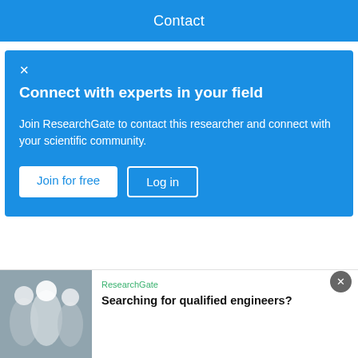Contact
Connect with experts in your field
Join ResearchGate to contact this researcher and connect with your scientific community.
Join for free   Log in
Feb 2019
Babasaheb Aware · Raghunath B Toche · Ashok P Pingle · [...] · Jayant Sonar
View
[Figure (table-as-image): Partial table showing ΔG (J/mole) values at 8K, 213K, 318K with numeric data]
Advertisement
ResearchGate
Searching for qualified engineers?